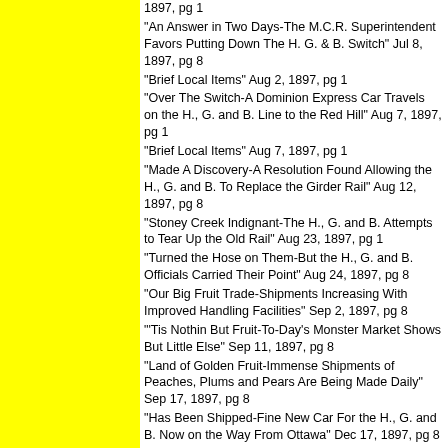1897, pg 1
"An Answer in Two Days-The M.C.R. Superintendent Favors Putting Down The H. G. & B. Switch" Jul 8, 1897, pg 8
"Brief Local Items" Aug 2, 1897, pg 1
"Over The Switch-A Dominion Express Car Travels on the H., G. and B. Line to the Red Hill" Aug 7, 1897, pg 1
"Brief Local Items" Aug 7, 1897, pg 1
"Made A Discovery-A Resolution Found Allowing the H., G. and B. To Replace the Girder Rail" Aug 12, 1897, pg 8
"Stoney Creek Indignant-The H., G. and B. Attempts to Tear Up the Old Rail" Aug 23, 1897, pg 1
"Turned the Hose on Them-But the H., G. and B. Officials Carried Their Point" Aug 24, 1897, pg 8
"Our Big Fruit Trade-Shipments Increasing With Improved Handling Facilities" Sep 2, 1897, pg 8
"'Tis Nothin But Fruit-To-Day's Monster Market Shows But Little Else" Sep 11, 1897, pg 8
"Land of Golden Fruit-Immense Shipments of Peaches, Plums and Pears Are Being Made Daily" Sep 17, 1897, pg 8
"Has Been Shipped-Fine New Car For the H., G. and B. Now on the Way From Ottawa" Dec 17, 1897, pg 8
"The Helderleigh Nurseries" The Canadian Horticulturist Vol 27, No 8 (August 1904) pg 326, 333-335